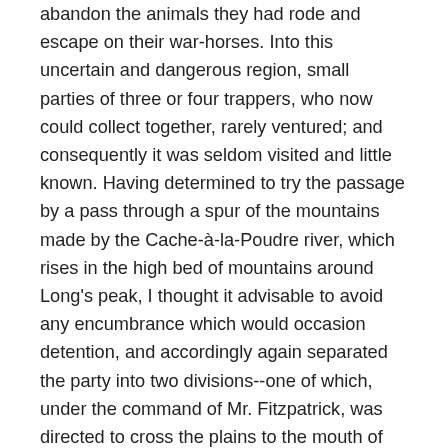abandon the animals they had rode and escape on their war-horses. Into this uncertain and dangerous region, small parties of three or four trappers, who now could collect together, rarely ventured; and consequently it was seldom visited and little known. Having determined to try the passage by a pass through a spur of the mountains made by the Cache-à-la-Poudre river, which rises in the high bed of mountains around Long's peak, I thought it advisable to avoid any encumbrance which would occasion detention, and accordingly again separated the party into two divisions--one of which, under the command of Mr. Fitzpatrick, was directed to cross the plains to the mouth of Laramie river, and, continuing thence its route along the usual emigrant road, meet me at Fort Hall, a post belonging to the Hudson Bay Company, and situated on Snake river, as it is commonly called in the Oregon Territory, although better known to us as Lewis's fork of the Columbia. The latter name is there restricted to one of the upper forks of the river. Our Delaware Indians having